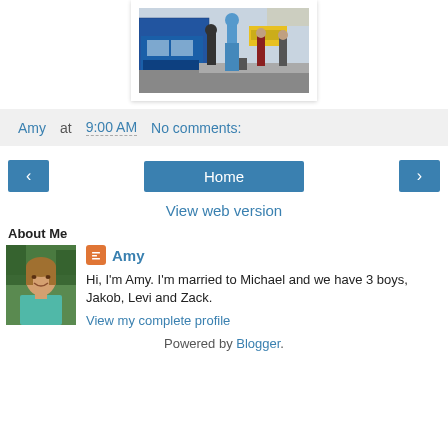[Figure (photo): Street scene photo showing people walking near a blue trolley/bus and yellow taxi]
Amy at 9:00 AM    No comments:
[Figure (other): Navigation buttons: left arrow, Home, right arrow]
View web version
About Me
[Figure (photo): Profile photo of Amy, a woman with shoulder-length hair wearing a teal top]
Amy
Hi, I'm Amy. I'm married to Michael and we have 3 boys, Jakob, Levi and Zack.
View my complete profile
Powered by Blogger.